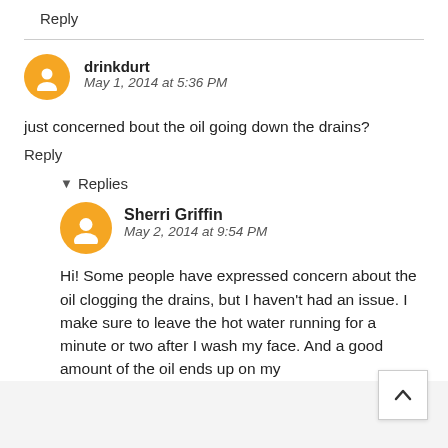Reply
drinkdurt
May 1, 2014 at 5:36 PM
just concerned bout the oil going down the drains?
Reply
▼ Replies
Sherri Griffin
May 2, 2014 at 9:54 PM
Hi! Some people have expressed concern about the oil clogging the drains, but I haven't had an issue. I make sure to leave the hot water running for a minute or two after I wash my face. And a good amount of the oil ends up on my